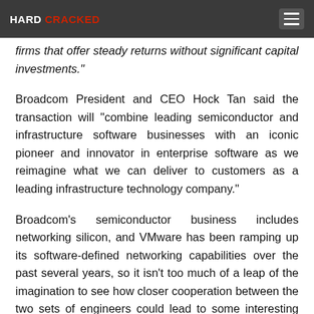HARD CRACKED
firms that offer steady returns without significant capital investments."
Broadcom President and CEO Hock Tan said the transaction will "combine leading semiconductor and infrastructure software businesses with an iconic pioneer and innovator in enterprise software as we reimagine what we can deliver to customers as a leading infrastructure technology company."
Broadcom's semiconductor business includes networking silicon, and VMware has been ramping up its software-defined networking capabilities over the past several years, so it isn't too much of a leap of the imagination to see how closer cooperation between the two sets of engineers could lead to some interesting outcomes.
VMware has also been working closely with Nvidia on